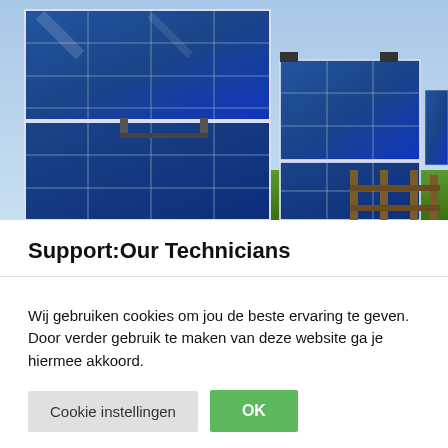[Figure (photo): A field of blue solar panels arranged in rows under a clear sky, photographed from a low angle showing multiple panels receding into the distance.]
Support:Our Technicians
Wij gebruiken cookies om jou de beste ervaring te geven. Door verder gebruik te maken van deze website ga je hiermee akkoord.
Cookie instellingen | OK